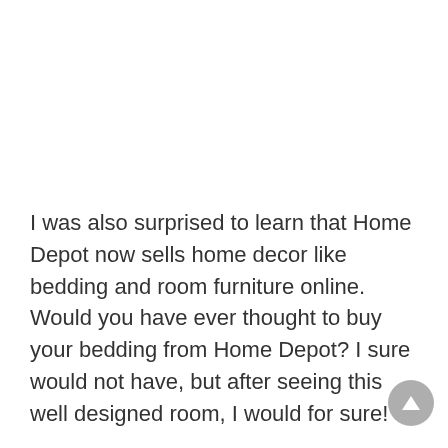I was also surprised to learn that Home Depot now sells home decor like bedding and room furniture online. Would you have ever thought to buy your bedding from Home Depot? I sure would not have, but after seeing this well designed room, I would for sure!